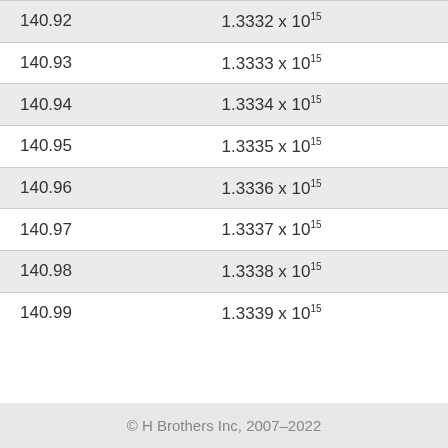| 140.92 | 1.3332 x 10^15 |
| 140.93 | 1.3333 x 10^15 |
| 140.94 | 1.3334 x 10^15 |
| 140.95 | 1.3335 x 10^15 |
| 140.96 | 1.3336 x 10^15 |
| 140.97 | 1.3337 x 10^15 |
| 140.98 | 1.3338 x 10^15 |
| 140.99 | 1.3339 x 10^15 |
© H Brothers Inc, 2007–2022